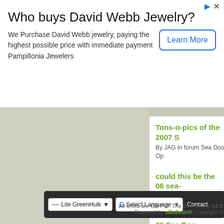[Figure (screenshot): Advertisement banner: 'Who buys David Webb Jewelry?' with Learn More button]
Who buys David Webb Jewelry?
We Purchase David Webb jewelry, paying the highest possible price with immediate payment Pampillonia Jewelers
[Figure (screenshot): Scroll-up chevron button]
Tons-o-pics of the 2007 S
By JAG in forum Sea Doo Op
could this be the 06 sea-
By two2curupt in forum 4-Tec
06 Sea Doo
By meeper in forum 4-Tec Pe
[Figure (screenshot): Footer toolbar with Lite GreenHulk dropdown, Google Translate widget, and Contact link]
All times are GMT -5. The time now is 02:2
Powered by vBulletin® Copyright ©